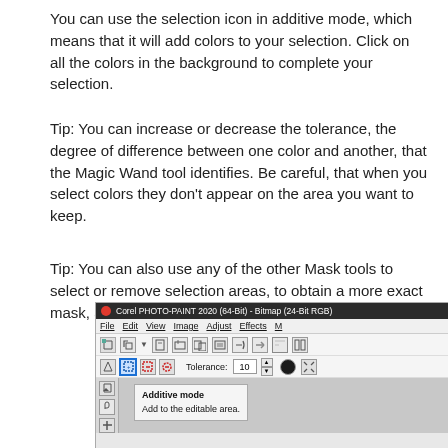You can use the selection icon in additive mode, which means that it will add colors to your selection. Click on all the colors in the background to complete your selection.
Tip: You can increase or decrease the tolerance, the degree of difference between one color and another, that the Magic Wand tool identifies. Be careful, that when you select colors they don't appear on the area you want to keep.
Tip: You can also use any of the other Mask tools to select or remove selection areas, to obtain a more exact mask, according to the image.
[Figure (screenshot): Screenshot of Corel PHOTO-PAINT 2020 (64-Bit) - Bitmap (24-Bit RGB) showing the toolbar with Additive mode tooltip. The tooltip reads 'Additive mode: Add to the editable area.' Tolerance is set to 10.]